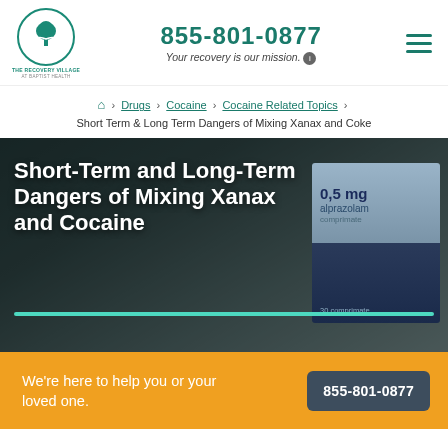855-801-0877 — Your recovery is our mission. — The Recovery Village
🏠 > Drugs > Cocaine > Cocaine Related Topics > Short Term & Long Term Dangers of Mixing Xanax and Coke
[Figure (photo): Hero image with dark overlay showing cocaine paraphernalia and a Xanax (alprazolam 0.5mg comprimate) box, with white bold title text overlaid: Short-Term and Long-Term Dangers of Mixing Xanax and Cocaine, and a teal horizontal line below the title.]
We're here to help you or your loved one.
855-801-0877